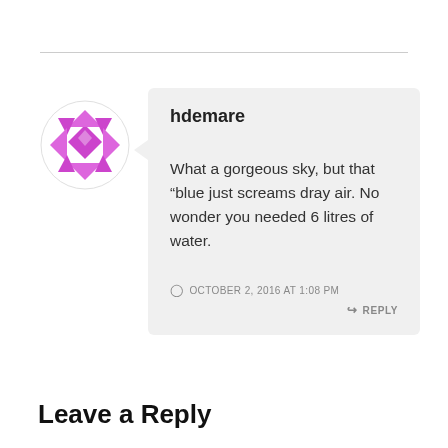[Figure (illustration): Purple/magenta geometric mosaic avatar icon — diamond pattern with triangles]
hdemare
What a gorgeous sky, but that “blue just screams dray air. No wonder you needed 6 litres of water.
OCTOBER 2, 2016 AT 1:08 PM
REPLY
Leave a Reply